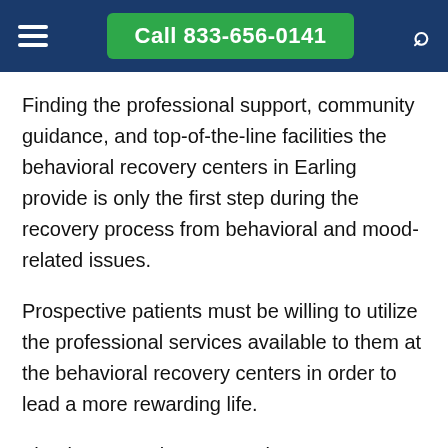Call 833-656-0141
Finding the professional support, community guidance, and top-of-the-line facilities the behavioral recovery centers in Earling provide is only the first step during the recovery process from behavioral and mood-related issues.
Prospective patients must be willing to utilize the professional services available to them at the behavioral recovery centers in order to lead a more rewarding life.
The time to seek treatment is now. Contact the recovery centers in Earling, Iowa to start the